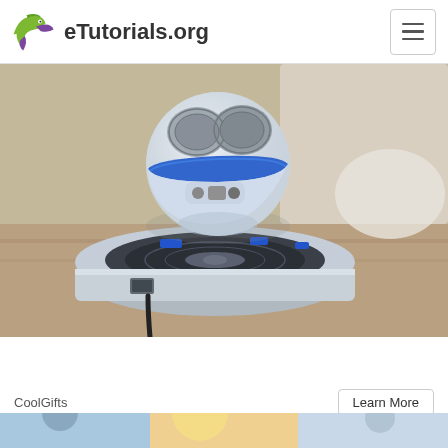eTutorials.org
[Figure (photo): A levitating Bluetooth speaker (spherical white speaker floating above a circular silver/chrome base labeled ICE) on a wooden desk]
Here Are 23 of the Coolest Gifts for This 2022
CoolGifts
Learn More
[Figure (photo): Partial bottom strip showing beginning of another image/article]